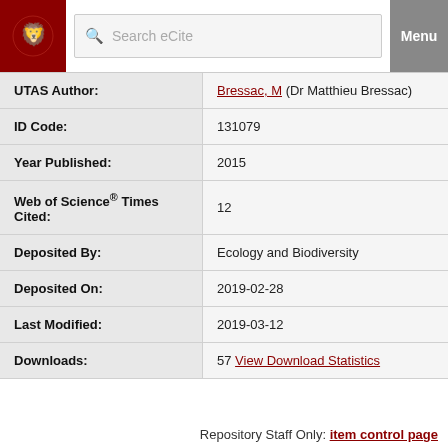Search eCite | Menu
| Field | Value |
| --- | --- |
| UTAS Author: | Bressac, M (Dr Matthieu Bressac) |
| ID Code: | 131079 |
| Year Published: | 2015 |
| Web of Science® Times Cited: | 12 |
| Deposited By: | Ecology and Biodiversity |
| Deposited On: | 2019-02-28 |
| Last Modified: | 2019-03-12 |
| Downloads: | 57 View Download Statistics |
Repository Staff Only: item control page